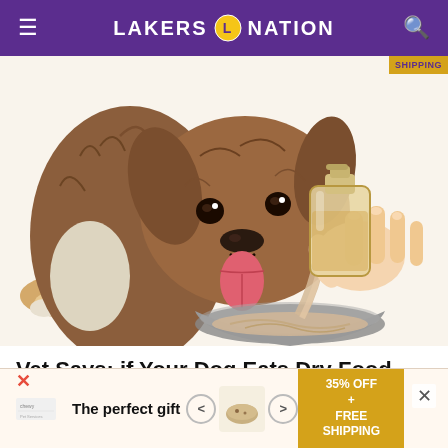LAKERS NATION
[Figure (illustration): Illustrated image of a fluffy brown dog with tongue out, looking at a bowl while a hand pours liquid from a bottle into it. A yellow 'SHIPPING' badge appears in the top right.]
Vet Says: if Your Dog Eats Dry Food, Do This Every Day
Dr Marty | Nature's Blend | Sponsored
[Figure (illustration): Bottom advertisement strip showing 'The perfect gift' text with food bowl imagery, navigation arrows, and a gold badge reading '35% OFF + FREE SHIPPING']